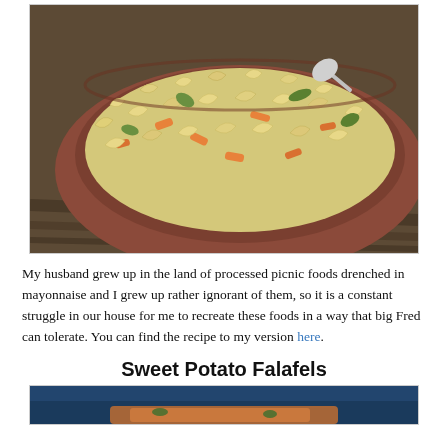[Figure (photo): A close-up photo of a pasta (elbow macaroni) salad with vegetables including carrots and greens in a creamy dressing, served in a brown ceramic bowl on a wooden surface.]
My husband grew up in the land of processed picnic foods drenched in mayonnaise and I grew up rather ignorant of them, so it is a constant struggle in our house for me to recreate these foods in a way that big Fred can tolerate. You can find the recipe to my version here.
Sweet Potato Falafels
[Figure (photo): A partially visible photo of sweet potato falafels, showing food with orange and golden tones against a blue background.]